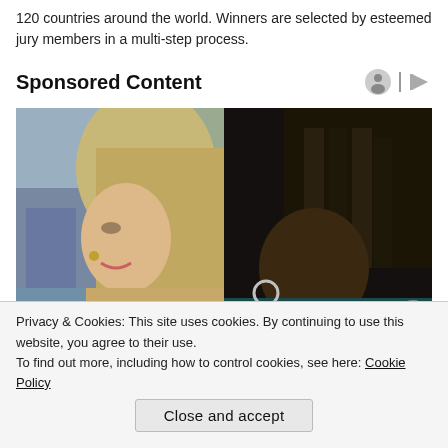120 countries around the world. Winners are selected by esteemed jury members in a multi-step process.
Sponsored Content
[Figure (photo): Two side-by-side photos: left shows a blonde woman in profile view outdoors; right shows a person with braided hair in a dark setting.]
Privacy & Cookies: This site uses cookies. By continuing to use this website, you agree to their use.
To find out more, including how to control cookies, see here: Cookie Policy
Close and accept